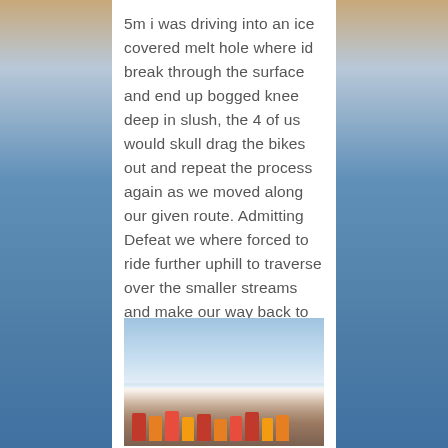5m i was driving into an ice covered melt hole where id break through the surface and end up bogged knee deep in slush, the 4 of us would skull drag the bikes out and repeat the process again as we moved along our given route. Admitting Defeat we where forced to ride further uphill to traverse over the smaller streams and make our way back to base.
[Figure (photo): Group of people in colorful cold-weather gear sitting on snow/ice under a clear blue sky, likely in an Arctic or polar environment.]